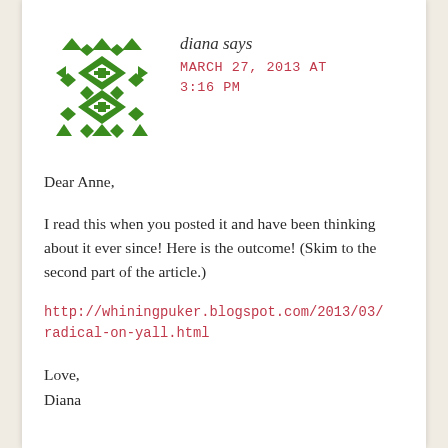[Figure (illustration): Green geometric avatar with diamond and arrow pattern]
diana says
MARCH 27, 2013 AT 3:16 PM
Dear Anne,
I read this when you posted it and have been thinking about it ever since! Here is the outcome! (Skim to the second part of the article.)
http://whiningpuker.blogspot.com/2013/03/radical-on-yall.html
Love,
Diana